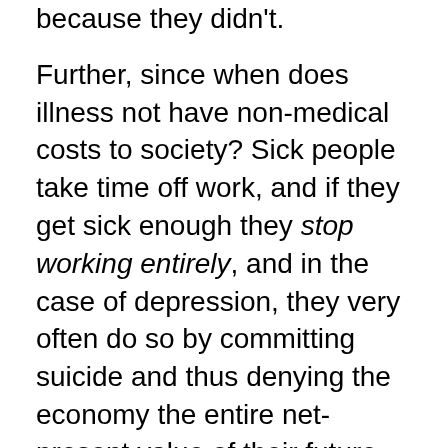because they didn't.
Further, since when does illness not have non-medical costs to society? Sick people take time off work, and if they get sick enough they stop working entirely, and in the case of depression, they very often do so by committing suicide and thus denying the economy the entire net-present value of their future potential income stream and all the investment that has been made in their human capital.
Suggestion: make your premises empirically true